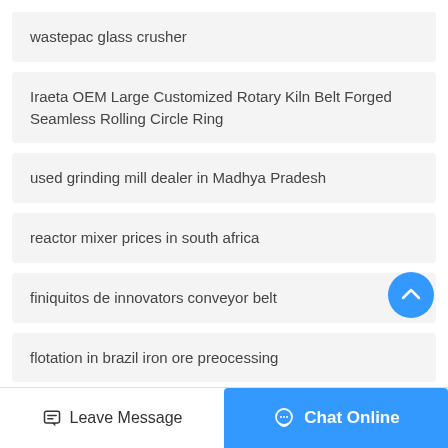wastepac glass crusher
Iraeta OEM Large Customized Rotary Kiln Belt Forged Seamless Rolling Circle Ring
used grinding mill dealer in Madhya Pradesh
reactor mixer prices in south africa
finiquitos de innovators conveyor belt
flotation in brazil iron ore preocessing
Leave Message  Chat Online